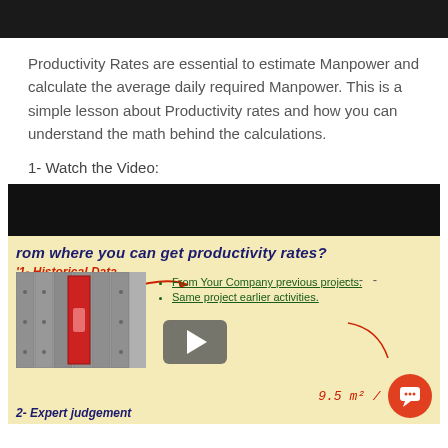[Figure (screenshot): Dark top image strip (partial screenshot above the fold)]
Productivity Rates are essential to estimate Manpower and calculate the average daily required Manpower. This is a simple lesson about Productivity rates and how you can understand the math behind the calculations.
1- Watch the Video:
[Figure (screenshot): Embedded video thumbnail showing a lesson about productivity rates. The video frame shows a title 'From where you can get productivity rates?' with '1- Historical Data' as a section, an image of filing binders, bullet points reading 'From Your Company previous projects.' and 'Same project earlier activities.', a play button overlay, handwritten formula '9.5 m² / hr', and '2- Expert judgement' label at the bottom. A red chat bubble icon appears at bottom right.]